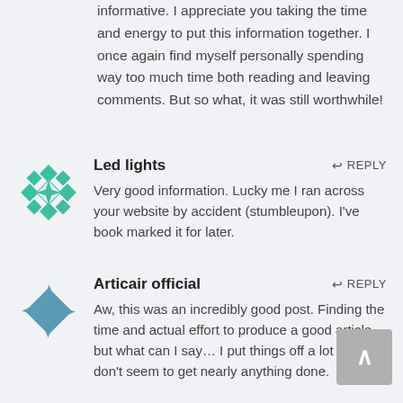informative. I appreciate you taking the time and energy to put this information together. I once again find myself personally spending way too much time both reading and leaving comments. But so what, it was still worthwhile!
Led lights
REPLY
[Figure (illustration): Green geometric diamond/star pattern avatar icon]
Very good information. Lucky me I ran across your website by accident (stumbleupon). I've book marked it for later.
Articair official
REPLY
[Figure (illustration): Blue/teal diamond shape with small arrow elements at corners avatar icon]
Aw, this was an incredibly good post. Finding the time and actual effort to produce a good article… but what can I say… I put things off a lot and don't seem to get nearly anything done.